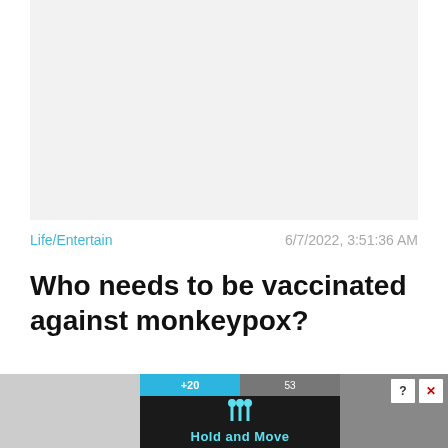[Figure (photo): Light grey placeholder rectangle representing a header image, partially cropped at the top of the page.]
Life/Entertain
6/7/2022, 3:51:36 AM
Who needs to be vaccinated against monkeypox?
[Figure (screenshot): Advertisement overlay at the bottom of the page showing a 'Hold and Move' game ad with a dark center panel, teal top tabs labeled '+20' and '53', human figure icons, and a grey Close X button above it. The background shows an outdoor scene with bare trees.]